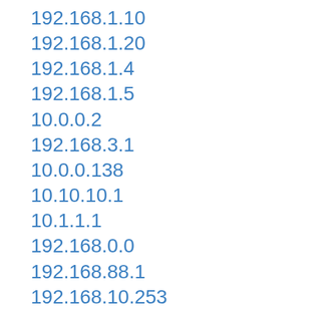192.168.1.10
192.168.1.20
192.168.1.4
192.168.1.5
10.0.0.2
192.168.3.1
10.0.0.138
10.10.10.1
10.1.1.1
192.168.0.0
192.168.88.1
192.168.10.253
192.168.1.11
192.168.31.1
192.168.16.1